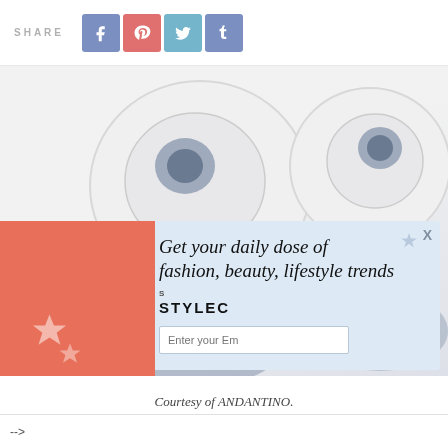SHARE
[Figure (screenshot): Screenshot of a lifestyle/fashion website showing social share buttons (Facebook, Pinterest, Twitter, Tumblr) and a product image of white earbuds/headphones with a popup newsletter signup overlay reading 'Get your daily dose of fashion, beauty, lifestyle trends' with a STYLECASTER branding and email input field.]
Courtesy of ANDANTINO.
-->